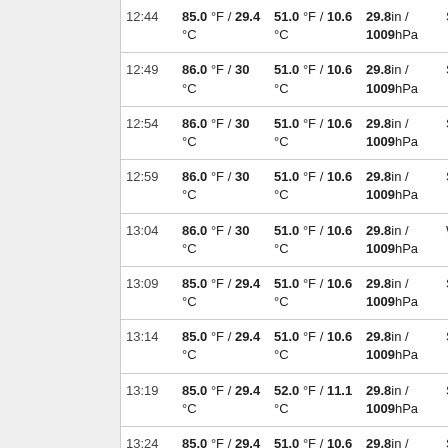| Time | Temperature | Dew Point | Pressure | Wind |
| --- | --- | --- | --- | --- |
| 12:44 | 85.0 °F / 29.4 °C | 51.0 °F / 10.6 °C | 29.8in / 1009hPa | SSW |
| 12:49 | 86.0 °F / 30 °C | 51.0 °F / 10.6 °C | 29.8in / 1009hPa | SSE |
| 12:54 | 86.0 °F / 30 °C | 51.0 °F / 10.6 °C | 29.8in / 1009hPa | SSW |
| 12:59 | 86.0 °F / 30 °C | 51.0 °F / 10.6 °C | 29.8in / 1009hPa | SW |
| 13:04 | 86.0 °F / 30 °C | 51.0 °F / 10.6 °C | 29.8in / 1009hPa | WSW |
| 13:09 | 85.0 °F / 29.4 °C | 51.0 °F / 10.6 °C | 29.8in / 1009hPa | SW |
| 13:14 | 85.0 °F / 29.4 °C | 51.0 °F / 10.6 °C | 29.8in / 1009hPa | SSW |
| 13:19 | 85.0 °F / 29.4 °C | 52.0 °F / 11.1 °C | 29.8in / 1009hPa | South |
| 13:24 | 85.0 °F / 29.4 °C | 51.0 °F / 10.6 °C | 29.8in / 1009hPa | SW |